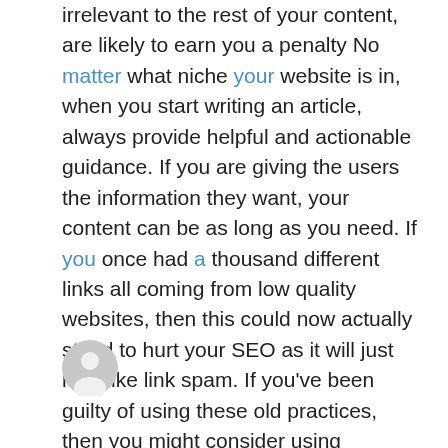irrelevant to the rest of your content, are likely to earn you a penalty No matter what niche your website is in, when you start writing an article, always provide helpful and actionable guidance. If you are giving the users the information they want, your content can be as long as you need. If you once had a thousand different links all coming from low quality websites, then this could now actually stand to hurt your SEO as it will just look like link spam. If you've been guilty of using these old practices, then you might consider using Google's Link Disavow tool. Not so long ago, SEO and social media marketing were different things. The idea was that SEO attracted visitors and social media marketing kept them coming back.
[Figure (illustration): Gray circular avatar/user icon with a person silhouette]